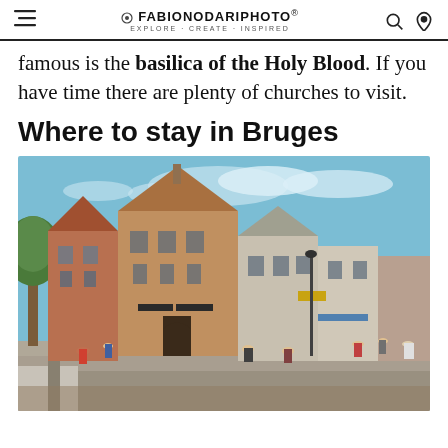FABIONODARIPHOTO | EXPLORE · CREATE · INSPIRED
famous is the basilica of the Holy Blood. If you have time there are plenty of churches to visit.
Where to stay in Bruges
[Figure (photo): Wide-angle street view of historic Bruges, Belgium, showing medieval brick buildings with stepped gable roofs, a cobblestone street with tourists walking, shops with dark awnings, and a blue sky with clouds.]